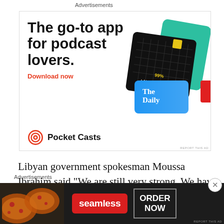daily.
Advertisements
[Figure (illustration): Pocket Casts app advertisement showing podcast app cards including 99% Invisible and The Daily with text 'The go-to app for podcast lovers. Download now']
Libyan government spokesman Moussa Ibrahim said “We are still very strong. We have thousands and thousands of
Advertisements
[Figure (illustration): Seamless food delivery advertisement banner with pizza image, Seamless logo, and ORDER NOW button]